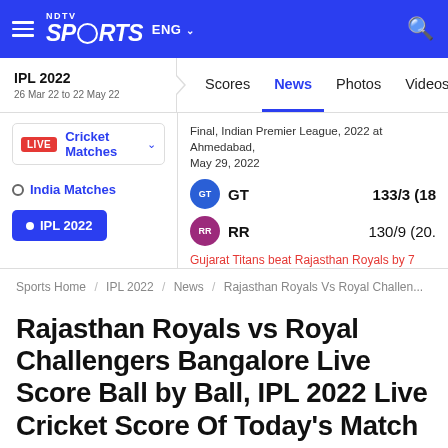NDTV Sports ENG
IPL 2022 | 26 Mar 22 to 22 May 22
Scores | News | Photos | Videos | Au
Cricket Matches LIVE | India Matches | IPL 2022
Final, Indian Premier League, 2022 at Ahmedabad, May 29, 2022
GT  133/3 (18
RR  130/9 (20.
Gujarat Titans beat Rajasthan Royals by 7 wickets
Sports Home / IPL 2022 / News / Rajasthan Royals Vs Royal Challen...
Rajasthan Royals vs Royal Challengers Bangalore Live Score Ball by Ball, IPL 2022 Live Cricket Score Of Today's Match